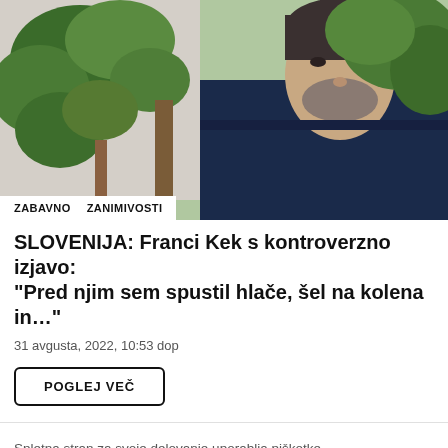[Figure (photo): Middle-aged man with grey stubble wearing a dark navy shirt, seated outdoors with green leafy trees in the background. Tags 'ZABAVNO' and 'ZANIMIVOSTI' overlaid at bottom-left of image.]
SLOVENIJA: Franci Kek s kontroverzno izjavo: "Pred njim sem spustil hlače, šel na kolena in..."
31 avgusta, 2022, 10:53 dop
POGLEJ VEČ
Spletna stran za svoje delovanje uporablja piškotke.
Ok, se strinjam